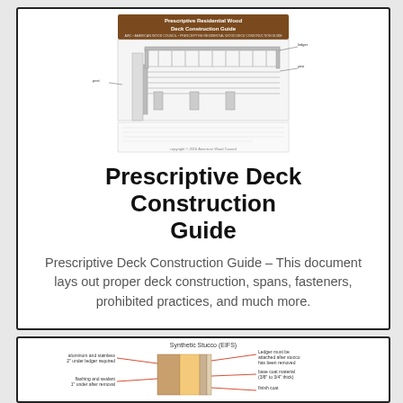[Figure (illustration): Thumbnail image of the Prescriptive Residential Wood Deck Construction Guide cover, showing a deck diagram with labeled components and a text block below the diagram.]
Prescriptive Deck Construction Guide
Prescriptive Deck Construction Guide – This document lays out proper deck construction, spans, fasteners, prohibited practices, and much more.
[Figure (engineering-diagram): Cross-section engineering diagram of a synthetic stucco (EIFS) wall assembly showing layered components with labeled callouts including synthetic stucco, foam insulation board, shim, and base coat.]